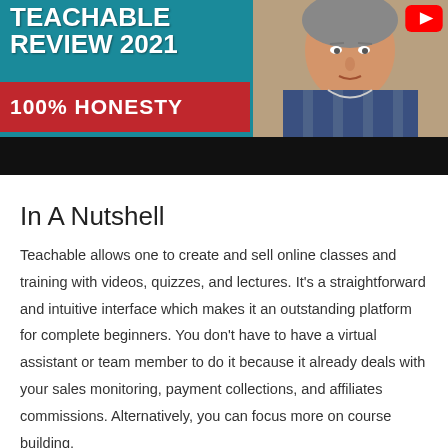[Figure (screenshot): Video thumbnail showing 'TEACHABLE REVIEW 2021' with '100% HONESTY' text on a teal/red background, a man in plaid shirt, YouTube logo, and a black bar at bottom.]
In A Nutshell
Teachable allows one to create and sell online classes and training with videos, quizzes, and lectures. It's a straightforward and intuitive interface which makes it an outstanding platform for complete beginners. You don't have to have a virtual assistant or team member to do it because it already deals with your sales monitoring, payment collections, and affiliates commissions. Alternatively, you can focus more on course building.